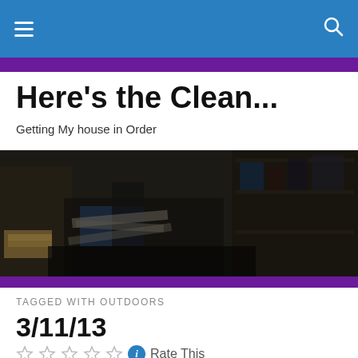Here's the Clean...
Getting My house in Order
[Figure (photo): Dark photo of a cluttered, messy room with piles of items, books, boxes, and various objects on shelves and surfaces]
TAGGED WITH OUTDOORS
3/11/13
Rate This
Skipped another day, and a Sunday at that. Just was